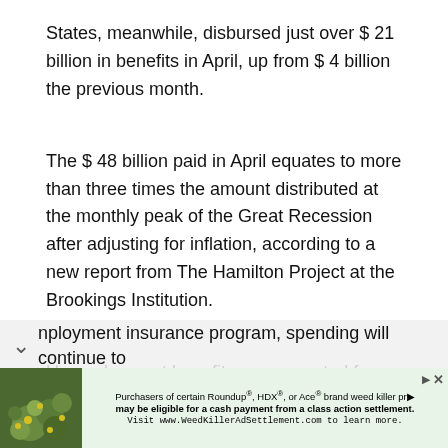States, meanwhile, disbursed just over $ 21 billion in benefits in April, up from $ 4 billion the previous month.
The $ 48 billion paid in April equates to more than three times the amount distributed at the monthly peak of the Great Recession after adjusting for inflation, according to a new report from The Hamilton Project at the Brookings Institution.
Unemployment benefits compensated for a small part of the decline in personal income in March, but about half of the wages and wages lost in April, according to preliminary calculations by the researchers.
As increasing numbers of Americans join and remain in the [partial] nployment insurance program, spending will continue to
Purchasers of certain Roundup®, HDX®, or Ace® brand weed killer pr... may be eligible for a cash payment from a class action settlement. Visit www.WeedKillerAdSettlement.com to learn more.